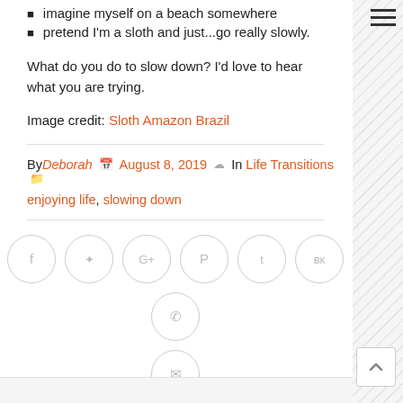imagine myself on a beach somewhere
pretend I'm a sloth and just...go really slowly.
What do you do to slow down? I'd love to hear what you are trying.
Image credit: Sloth Amazon Brazil
By Deborah  August 8, 2019  In Life Transitions  enjoying life, slowing down
[Figure (infographic): Row of social sharing icon buttons: Facebook, Twitter, Google+, Pinterest, Tumblr, VK, WhatsApp, and an Email button below]